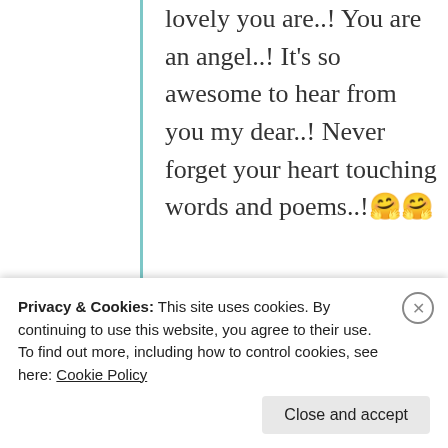lovely you are..! You are an angel..! It's so awesome to hear from you my dear..! Never forget your heart touching words and poems..! 🤗🤗
★ Liked by 1 person
Advertisements
[Figure (screenshot): Longreads advertisement banner on dark red background: 'The best stories on the web – ours, and everyone else's.']
Privacy & Cookies: This site uses cookies. By continuing to use this website, you agree to their use. To find out more, including how to control cookies, see here: Cookie Policy
Close and accept